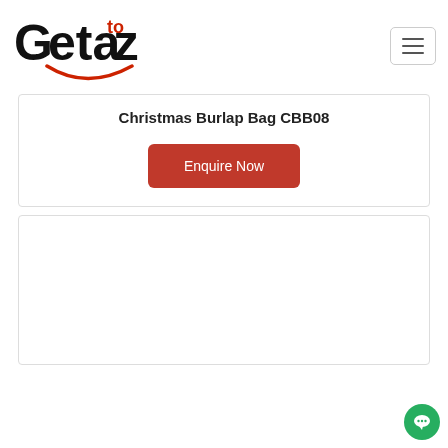[Figure (logo): Getaz logo with red 'to' superscript and smile underline]
Christmas Burlap Bag CBB08
Enquire Now
[Figure (photo): White/blank image card area below the product card]